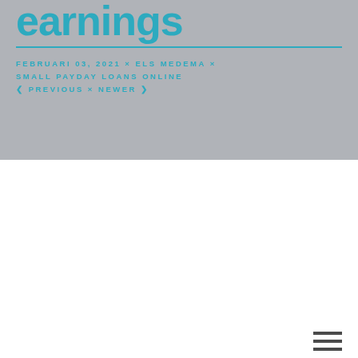earnings
FEBRUARI 03, 2021 × ELS MEDEMA × SMALL PAYDAY LOANS ONLINE ❮ PREVIOUS × NEWER ❯
NEW HAMPSHIRE THE GRANITE STATE
Brand brand New Hampshire is called the Granite State and statistics reveal that residents have actually the best median income in the entire United States. Therefore,